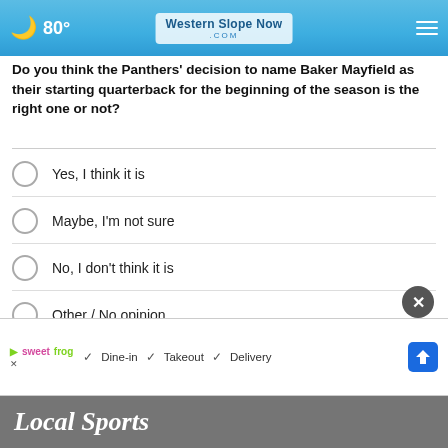80° | Western Slope Now .com
Do you think the Panthers' decision to name Baker Mayfield as their starting quarterback for the beginning of the season is the right one or not?
Yes, I think it is
Maybe, I'm not sure
No, I don't think it is
Other / No opinion
NEXT *
* By clicking "NEXT" you agree to the following: We use cookies to track your survey answers. If you would like to continue with this survey, please read and agree to the CivicScience Privacy Policy and Terms of Service
[Figure (screenshot): Advertisement banner showing sweetFrog logo with checkmarks for Dine-in, Takeout, Delivery and a navigation icon]
Local Sports